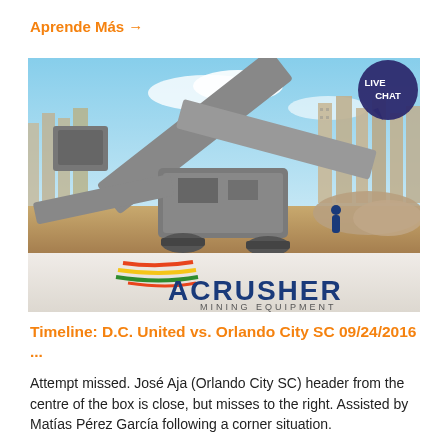Aprende Más →
[Figure (photo): A large mobile crusher/mining equipment machine on a construction site with city buildings in background and ACRUSHER Mining Equipment logo overlay. A 'LIVE CHAT' badge appears in the top-right corner of the image.]
Timeline: D.C. United vs. Orlando City SC 09/24/2016 ...
Attempt missed. José Aja (Orlando City SC) header from the centre of the box is close, but misses to the right. Assisted by Matías Pérez García following a corner situation.